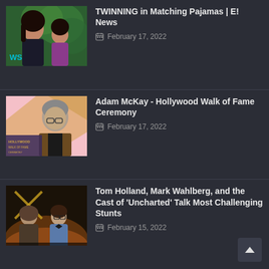TWINNING in Matching Pajamas | E! News
February 17, 2022
Adam McKay - Hollywood Walk of Fame Ceremony
February 17, 2022
Tom Holland, Mark Wahlberg, and the Cast of 'Uncharted' Talk Most Challenging Stunts
February 15, 2022